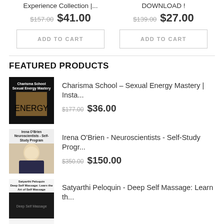Experience Collection |...
DOWNLOAD !
$157.00 $41.00
$139.00 $27.00
ADD TO CART
ADD TO CART
FEATURED PRODUCTS
Charisma School – Sexual Energy Mastery | Insta...
$177.00 $36.00
Irena O'Brien - Neuroscientists - Self-Study Progr...
$350.00 $150.00
Satyarthi Peloquin - Deep Self Massage: Learn th...